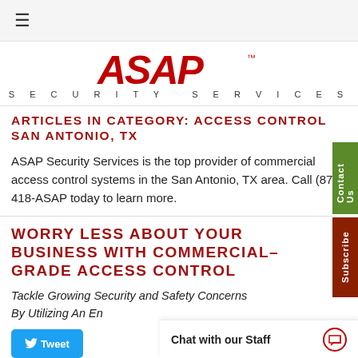≡
[Figure (logo): ASAP Security Services logo — red stylized 'ASAP' lettering with 'SECURITY SERVICES' below in spaced gray capitals]
ARTICLES IN CATEGORY: ACCESS CONTROL SAN ANTONIO, TX
ASAP Security Services is the top provider of commercial access control systems in the San Antonio, TX area. Call (877) 418-ASAP today to learn more.
WORRY LESS ABOUT YOUR BUSINESS WITH COMMERCIAL-GRADE ACCESS CONTROL
Tackle Growing Security and Safety Concerns By Utilizing An En…
Chat with our Staff
Tweet